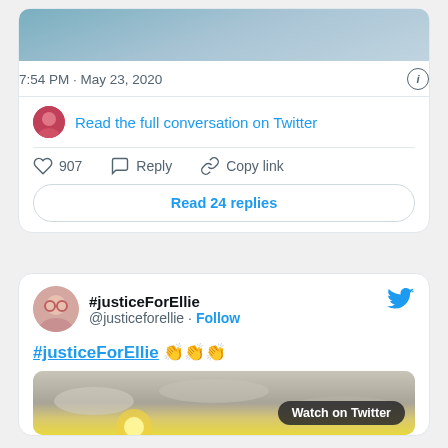[Figure (screenshot): Top portion of a tweet card showing a cropped image (sky/aircraft), timestamp 7:54 PM · May 23, 2020, info icon, avatar with link to read conversation on Twitter, like/reply/copy link actions, and Read 24 replies button]
7:54 PM · May 23, 2020
Read the full conversation on Twitter
907  Reply  Copy link
Read 24 replies
[Figure (screenshot): Second tweet card: #justiceForEllie @justiceforellie · Follow, tweet text #justiceForEllie 👏👏👏, media preview with Watch on Twitter button]
#justiceForEllie
@justiceforellie · Follow
#justiceForEllie 👏👏👏